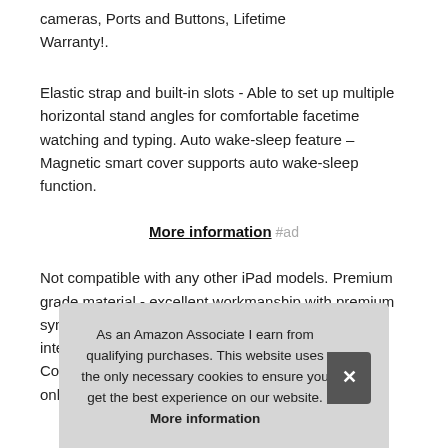cameras, Ports and Buttons, Lifetime Warranty!.
Elastic strap and built-in slots - Able to set up multiple horizontal stand angles for comfortable facetime watching and typing. Auto wake-sleep feature – Magnetic smart cover supports auto wake-sleep function.
More information #ad
Not compatible with any other iPad models. Premium grade material - excellent workmanship with premium synthetic leather exterior and anti-slip microfiber interior lining and soft TPU interior on the back. Compatibility - designed for the apple ipad... only...
As an Amazon Associate I earn from qualifying purchases. This website uses the only necessary cookies to ensure you get the best experience on our website. More information